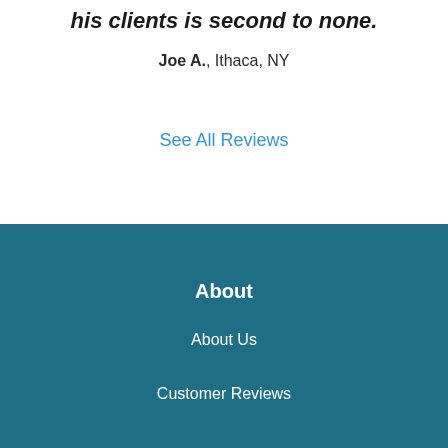his clients is second to none.
Joe A., Ithaca, NY
See All Reviews
About
About Us
Customer Reviews